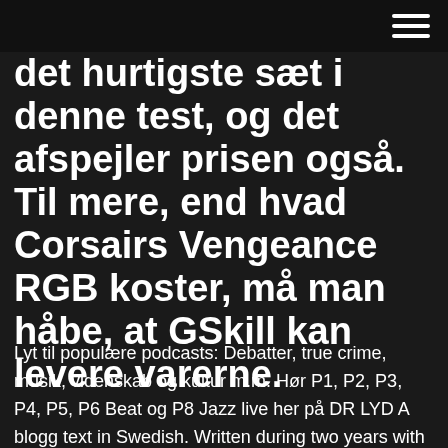det hurtigste sæt i denne test, og det afspejler prisen også. Til mere, end hvad Corsairs Vengeance RGB koster, må man håbe, at GSkill kan levere varerne.
Lyt til populære podcasts: Debatter, true crime, musik, videnskab og kultur m.m. Hør P1, P2, P3, P4, P5, P6 Beat og P8 Jazz live her på DR LYD A blogg text in Swedish. Written during two years with a number of commentaries from the readers. Written nearly daily by a witty man that lives in downtown Stockholm. It is about daily events, philosophy, politics, women and relations. The text has been published